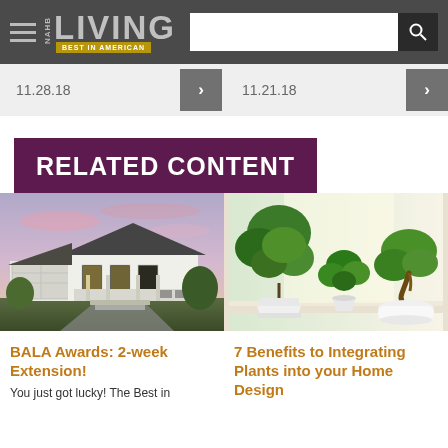NAHB LIVING – Best in American
11.28.18
11.21.18
RELATED CONTENT
[Figure (photo): White modern farmhouse exterior at dusk with garage and porch]
[Figure (photo): Green potted plants on a windowsill in bright light]
BALA Awards: 2-week Extension!
You just got lucky! The Best in
7 Benefits to Integrating Plants into your Home Design